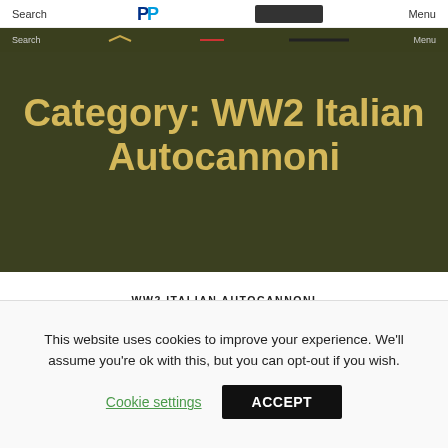Search | PayPal | Menu
Category: WW2 Italian Autocannoni
WW2 ITALIAN AUTOCANNONI
Autocannone da 20/65 su FIAT-SPA 38R
This website uses cookies to improve your experience. We'll assume you're ok with this, but you can opt-out if you wish. Cookie settings ACCEPT